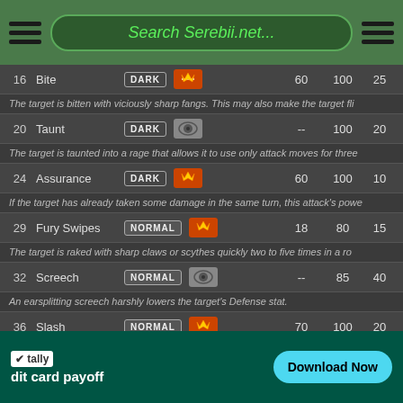Search Serebii.net...
| # | Move | Type | Cat | Power | Acc | PP |
| --- | --- | --- | --- | --- | --- | --- |
| 16 | Bite | DARK | Physical | 60 | 100 | 25 |
|  |  |  |  | The target is bitten with viciously sharp fangs. This may also make the target fli... |  |  |
| 20 | Taunt | DARK | Status | -- | 100 | 20 |
|  |  |  |  | The target is taunted into a rage that allows it to use only attack moves for three... |  |  |
| 24 | Assurance | DARK | Physical | 60 | 100 | 10 |
|  |  |  |  | If the target has already taken some damage in the same turn, this attack's powe... |  |  |
| 29 | Fury Swipes | NORMAL | Physical | 18 | 80 | 15 |
|  |  |  |  | The target is raked with sharp claws or scythes quickly two to five times in a ro... |  |  |
| 32 | Screech | NORMAL | Status | -- | 85 | 40 |
|  |  |  |  | An earsplitting screech harshly lowers the target's Defense stat. |  |  |
| 36 | Slash | NORMAL | Physical | 70 | 100 | 20 |
|  |  |  |  | The target is attacked with a slash of claws or blades. Critical hits land more eas... |  |  |
| 40 | Nasty Plot | DARK | Status | -- | 101 | 20 |
|  |  |  |  | The user stimulates its brain by thinking bad thoughts. This sharply raises the s... |  |  |
tally - credit card payoff - Download Now